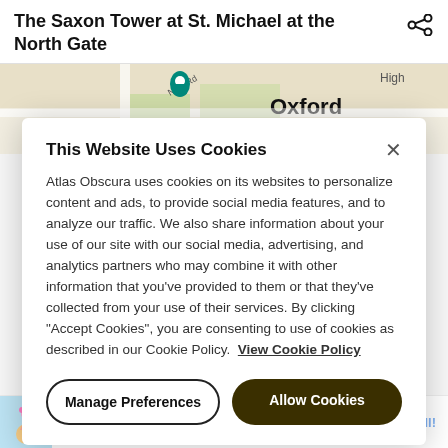The Saxon Tower at St. Michael at the North Gate
[Figure (map): Google Maps snippet showing Oxford area with location pin, New Rd label, Oxford label. Map data ©2022 Google.]
This Website Uses Cookies
Atlas Obscura uses cookies on its websites to personalize content and ads, to provide social media features, and to analyze our traffic. We also share information about your use of our site with our social media, advertising, and analytics partners who may combine it with other information that you've provided to them or that they've collected from your use of their services. By clicking "Accept Cookies", you are consenting to use of cookies as described in our Cookie Policy.  View Cookie Policy
Manage Preferences
Allow Cookies
BitLife - Life Simulator
Candywriter, LLC
Install!